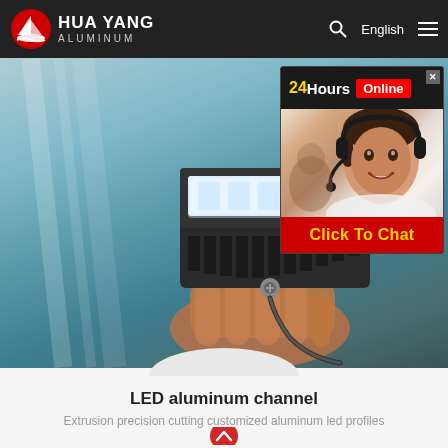HUA YANG ALUMINUM
[Figure (screenshot): Website screenshot showing Hua Yang Aluminum homepage with LED aluminum channel product photo and a 24Hours Online chat widget overlay]
LED aluminum channel
Extrusion precision cutting customized aluminum led profiles